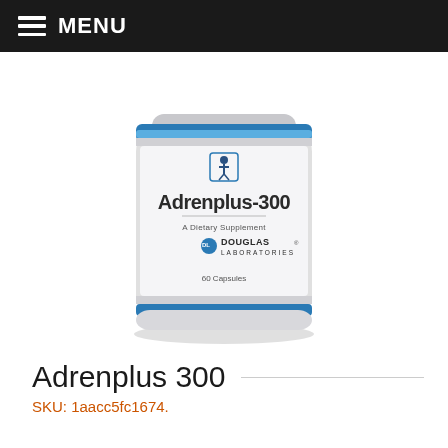MENU
[Figure (photo): Product photo of Adrenplus-300 dietary supplement bottle by Douglas Laboratories, 60 Capsules. White cylindrical bottle with blue and silver label.]
Adrenplus 300
SKU: 1aacc5fc1674.